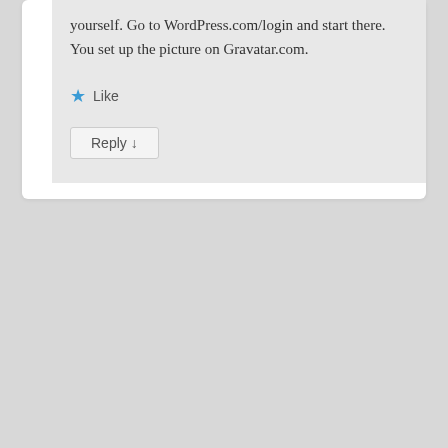yourself. Go to WordPress.com/login and start there. You set up the picture on Gravatar.com.
Like
Reply ↓
[Figure (illustration): Avatar image of a cartoon creature — a red/pink blob with green tentacles, white cartoon eyes, and a small yellow beak/mouth, on a light pink background.]
Purple snowdrop on August 12, 2017 at 11:02 am said:
Thank you so much for all the narcissist playlists. I've been adding to my Spotify this morning